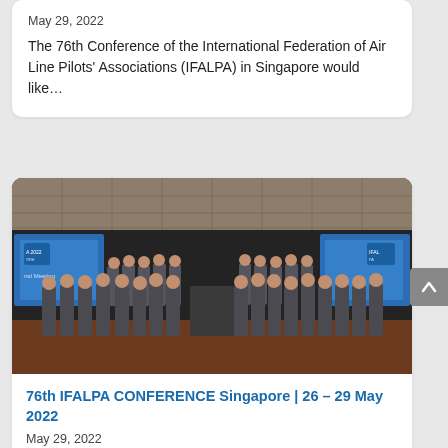May 29, 2022
The 76th Conference of the International Federation of Air Line Pilots' Associations (IFALPA) in Singapore would like…
[Figure (photo): Group photo of conference attendees on a stage with IFALPA 2022 banners and blue screens in the background]
76th IFALPA CONFERENCE Singapore | 26 – 29 May 2022
May 29, 2022